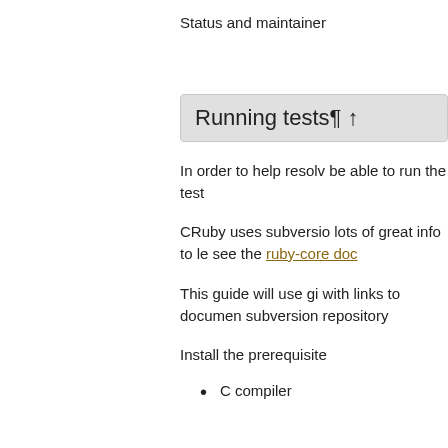Status and maintainer
Running tests¶ ↑
In order to help resolve be able to run the test
CRuby uses subversion lots of great info to le see the ruby-core doc
This guide will use gi with links to documen subversion repository
Install the prerequisite
C compiler